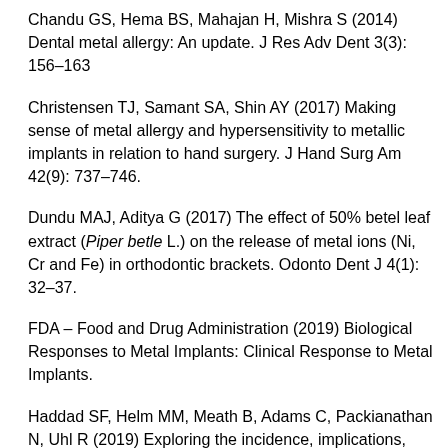Chandu GS, Hema BS, Mahajan H, Mishra S (2014) Dental metal allergy: An update. J Res Adv Dent 3(3): 156–163
Christensen TJ, Samant SA, Shin AY (2017) Making sense of metal allergy and hypersensitivity to metallic implants in relation to hand surgery. J Hand Surg Am 42(9): 737–746.
Dundu MAJ, Aditya G (2017) The effect of 50% betel leaf extract (Piper betle L.) on the release of metal ions (Ni, Cr and Fe) in orthodontic brackets. Odonto Dent J 4(1): 32–37.
FDA – Food and Drug Administration (2019) Biological Responses to Metal Implants: Clinical Response to Metal Implants.
Haddad SF, Helm MM, Meath B, Adams C, Packianathan N, Uhl R (2019) Exploring the incidence, implications, and relevance of metal allergy to orthopaedic surgeons. J Am Acad Orthop Surg Glob Res Rev 3(4): e023.